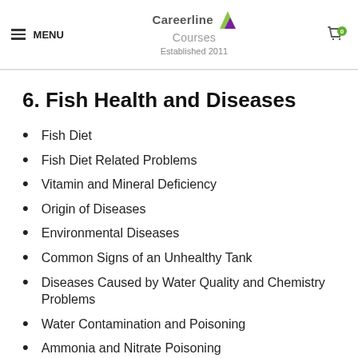MENU | Careerline Courses Established 2011 | 0
6. Fish Health and Diseases
Fish Diet
Fish Diet Related Problems
Vitamin and Mineral Deficiency
Origin of Diseases
Environmental Diseases
Common Signs of an Unhealthy Tank
Diseases Caused by Water Quality and Chemistry Problems
Water Contamination and Poisoning
Ammonia and Nitrate Poisoning
Oxygen Starvation – Hypoxia